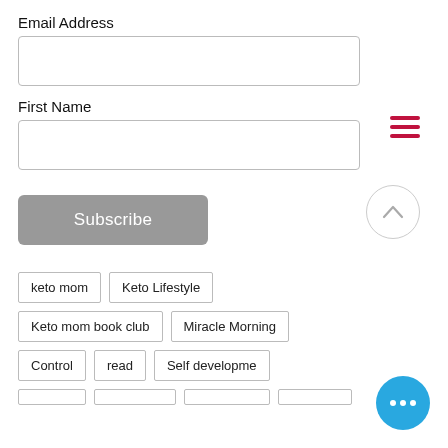Email Address
First Name
Subscribe
keto mom
Keto Lifestyle
Keto mom book club
Miracle Morning
Control
read
Self developme...